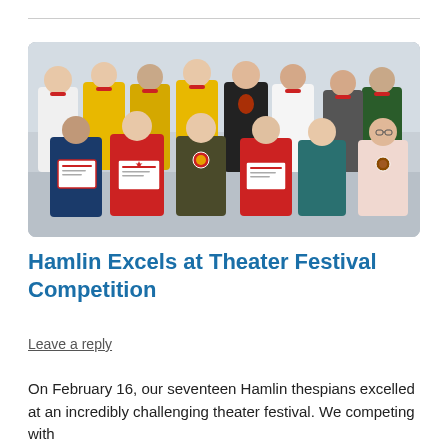[Figure (photo): Group photo of approximately thirteen young female students, some wearing medals, several holding award certificates, standing and kneeling in two rows in front of a light-colored wall. Students wear a variety of shirts including yellow, red, black, and white.]
Hamlin Excels at Theater Festival Competition
Leave a reply
On February 16, our seventeen Hamlin thespians excelled at an incredibly challenging theater festival. We competing with